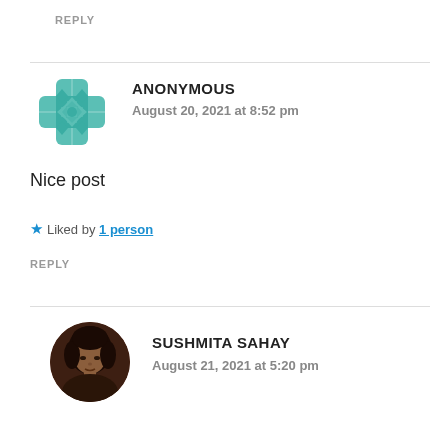REPLY
[Figure (illustration): Teal geometric/cross pattern avatar for Anonymous user]
ANONYMOUS
August 20, 2021 at 8:52 pm
Nice post
★ Liked by 1 person
REPLY
[Figure (photo): Circular profile photo of Sushmita Sahay, a woman with dark hair]
SUSHMITA SAHAY
August 21, 2021 at 5:20 pm